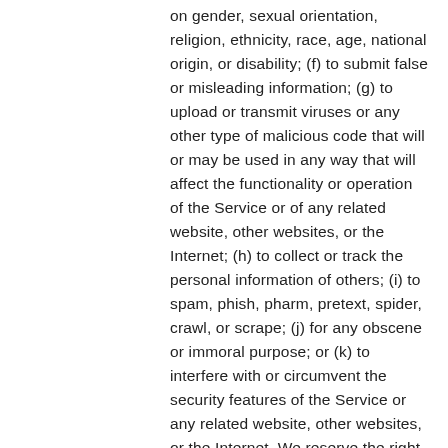on gender, sexual orientation, religion, ethnicity, race, age, national origin, or disability; (f) to submit false or misleading information; (g) to upload or transmit viruses or any other type of malicious code that will or may be used in any way that will affect the functionality or operation of the Service or of any related website, other websites, or the Internet; (h) to collect or track the personal information of others; (i) to spam, phish, pharm, pretext, spider, crawl, or scrape; (j) for any obscene or immoral purpose; or (k) to interfere with or circumvent the security features of the Service or any related website, other websites, or the Internet. We reserve the right to terminate your use of the Service or any related website for violating any of the prohibited uses.